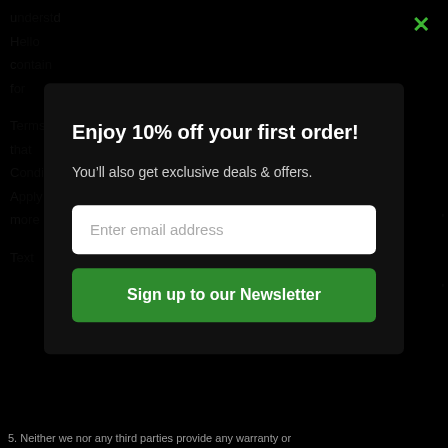u... d H... c... f...
T... t... C... A... m...
T...
Enjoy 10% off your first order!
You’ll also get exclusive deals & offers.
Enter email address
Sign up to our Newsletter
5. Neither we nor any third parties provide any warranty or